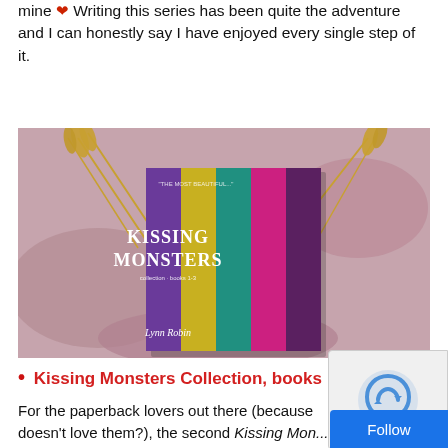mine ❤ Writing this series has been quite the adventure and I can honestly say I have enjoyed every single step of it.
[Figure (photo): Book cover photo of 'Kissing Monsters' by Lynn Robin, displayed on pink/mauve fabric with dried wheat stalks. The cover shows vertical colorful stripes in purple, yellow, teal, and pink.]
• Kissing Monsters Collection, books
For the paperback lovers out there (because doesn't love them?), the second Kissing Mon...